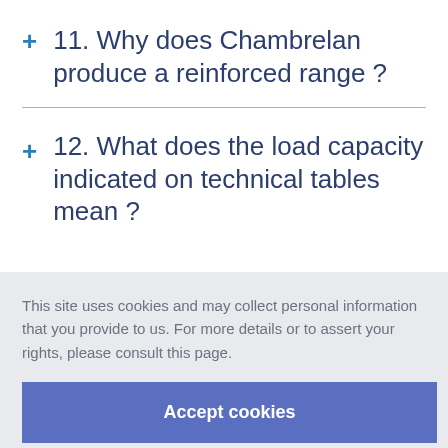11. Why does Chambrelan produce a reinforced range ?
12. What does the load capacity indicated on technical tables mean ?
This site uses cookies and may collect personal information that you provide to us. For more details or to assert your rights, please consult this page.
Accept cookies
of use for Chambrelan slides ?